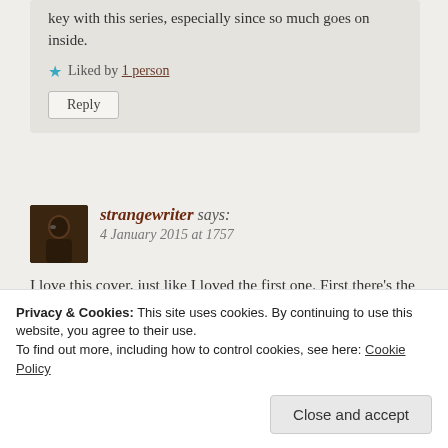key with this series, especially since so much goes on inside.
★ Liked by 1 person
Reply
strangewriter says:
4 January 2015 at 1757
I love this cover, just like I loved the first one. First there's the hint of burning forests, now there's the hint of frozen mountains. They're pieces of art in their own right and I think they've captured the grandiose nature of the
Privacy & Cookies: This site uses cookies. By continuing to use this website, you agree to their use.
To find out more, including how to control cookies, see here: Cookie Policy
Close and accept